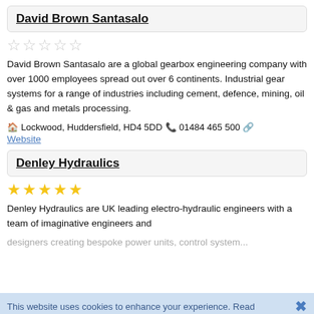David Brown Santasalo
[Figure (other): 5 empty/grey stars rating]
David Brown Santasalo are a global gearbox engineering company with over 1000 employees spread out over 6 continents. Industrial gear systems for a range of industries including cement, defence, mining, oil & gas and metals processing.
🏠 Lockwood, Huddersfield, HD4 5DD 📞 01484 465 500 🔗 Website
Denley Hydraulics
[Figure (other): 5 filled/gold stars rating]
Denley Hydraulics are UK leading electro-hydraulic engineers with a team of imaginative engineers and designers creating bespoke power units, control system...
This website uses cookies to enhance your experience. Read